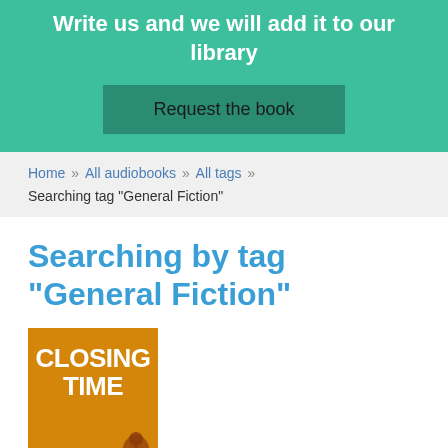Write us and we will add it to our library
Request the book
Home » All audiobooks » All tags » Searching tag "General Fiction"
Searching by tag "General Fiction"
[Figure (photo): Book cover for 'Closing Time' with orange/gold background and white bold text, small figure illustration at bottom right]